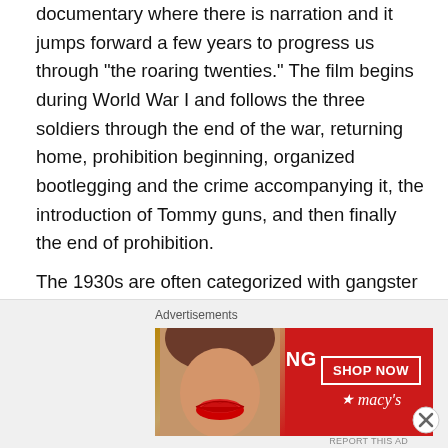documentary where there is narration and it jumps forward a few years to progress us through “the roaring twenties.” The film begins during World War I and follows the three soldiers through the end of the war, returning home, prohibition beginning, organized bootlegging and the crime accompanying it, the introduction of Tommy guns, and then finally the end of prohibition.
The 1930s are often categorized with gangster films and I feel like “Roaring Twenties” caps off the decade well. It nicely packages up the history of bootleg whiskey and organized crime into a gift that gives more heart to the story than just Tommy guns and criminals with molls.
[Figure (other): Advertisement banner for Macy's with text 'KISS BORING LIPS GOODBYE' and a SHOP NOW button with Macy's logo, red background with a woman's face showing red lips]